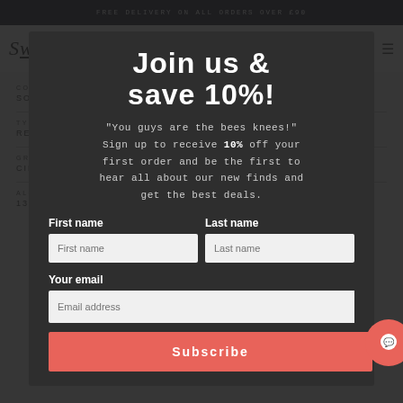FREE DELIVERY ON ALL ORDERS OVER £90
Swig (logo/nav)
COUNTRY: SOUTH AFRICA | REGION: BREEDEKLOOF
TYPE: RED | PRODUCER: BLANK BOTTLE
GRAPE: CINSAULT | VINTAGE: 2021
ALCOHOL: 13.5%
Join us & save 10%!
"You guys are the bees knees!" Sign up to receive 10% off your first order and be the first to hear all about our new finds and get the best deals.
First name | Last name | Your email | Email address | Subscribe